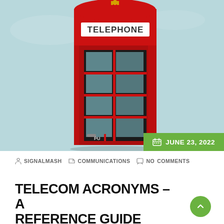[Figure (photo): A red British telephone box (phone booth) against a light blue sky background. The box has a crown at the top, a white 'TELEPHONE' sign, and glass paned door panels. The word 'PU' (PUSH) is partially visible on the door.]
JUNE 23, 2022
SIGNALMASH   COMMUNICATIONS   NO COMMENTS
TELECOM ACRONYMS – A REFERENCE GUIDE